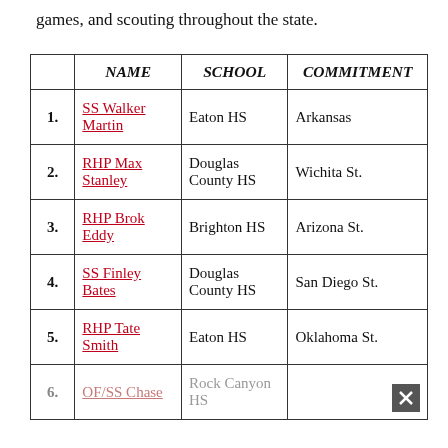games, and scouting throughout the state.
|  | NAME | SCHOOL | COMMITMENT |
| --- | --- | --- | --- |
| 1. | SS Walker Martin | Eaton HS | Arkansas |
| 2. | RHP Max Stanley | Douglas County HS | Wichita St. |
| 3. | RHP Brok Eddy | Brighton HS | Arizona St. |
| 4. | SS Finley Bates | Douglas County HS | San Diego St. |
| 5. | RHP Tate Smith | Eaton HS | Oklahoma St. |
| 6. | OF/SS Chase | Rock Canyon HS |  |